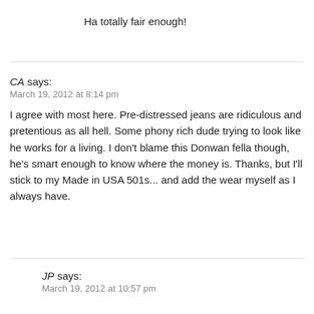Ha totally fair enough!
CA says:
March 19, 2012 at 8:14 pm
I agree with most here. Pre-distressed jeans are ridiculous and pretentious as all hell. Some phony rich dude trying to look like he works for a living. I don't blame this Donwan fella though, he's smart enough to know where the money is. Thanks, but I'll stick to my Made in USA 501s... and add the wear myself as I always have.
JP says:
March 19, 2012 at 10:57 pm